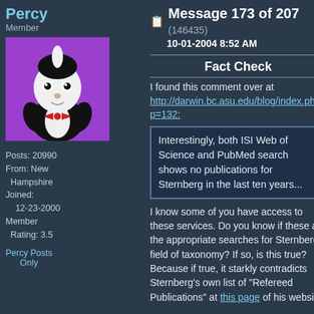Percy
Member
[Figure (illustration): Cartoon avatar of a penguin-like character in a tuxedo with a red bowtie on a purple background]
Posts: 20990
From: New Hampshire
Joined: 12-23-2000
Member Rating: 3.5
Percy Posts Only
Message 173 of 207 (146435)
10-01-2004 8:52 AM
Fact Check
I found this comment over at http://darwin.bc.asu.edu/blog/index.php?p=132:
Interestingly, both ISI Web of Science and PubMed search shows no publications for Sternberg in the last ten years...
I know some of you have access to these services. Do you know if these are the appropriate searches for Sternberg's field of taxonomy? If so, is this true? Because if true, it starkly contradicts Sternberg's own list of "Refereed Publications" at this page of his website.

--Percy